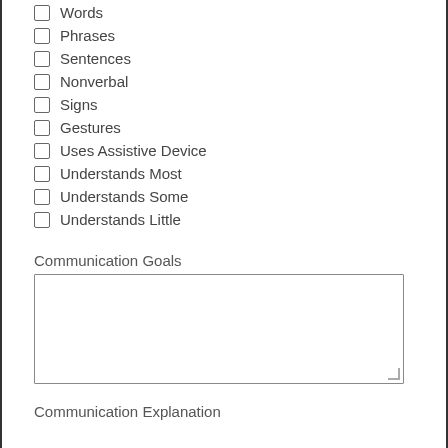Words
Phrases
Sentences
Nonverbal
Signs
Gestures
Uses Assistive Device
Understands Most
Understands Some
Understands Little
Communication Goals
Communication Explanation